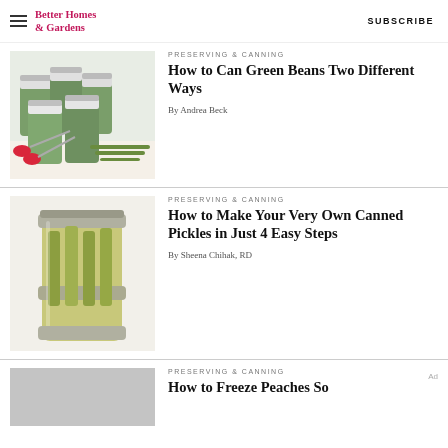Better Homes & Gardens  SUBSCRIBE
[Figure (photo): Jars of canned green beans with red-handled scissors and fresh green beans on a table]
PRESERVING & CANNING
How to Can Green Beans Two Different Ways
By Andrea Beck
[Figure (photo): Canned pickle jar with cucumbers inside, viewed from above]
PRESERVING & CANNING
How to Make Your Very Own Canned Pickles in Just 4 Easy Steps
By Sheena Chihak, RD
[Figure (photo): Gray placeholder image for a third article]
PRESERVING & CANNING
How to Freeze Peaches So